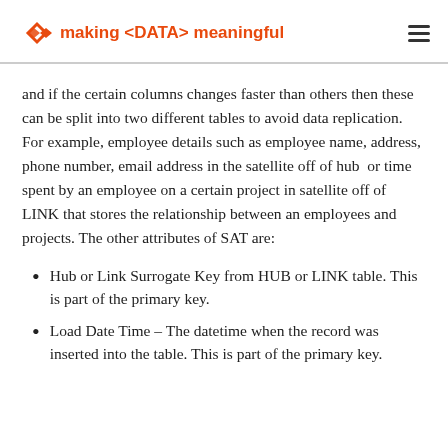making <DATA> meaningful
and if the certain columns changes faster than others then these can be split into two different tables to avoid data replication. For example, employee details such as employee name, address, phone number, email address in the satellite off of hub  or time spent by an employee on a certain project in satellite off of LINK that stores the relationship between an employees and projects. The other attributes of SAT are:
Hub or Link Surrogate Key from HUB or LINK table. This is part of the primary key.
Load Date Time – The datetime when the record was inserted into the table. This is part of the primary key.